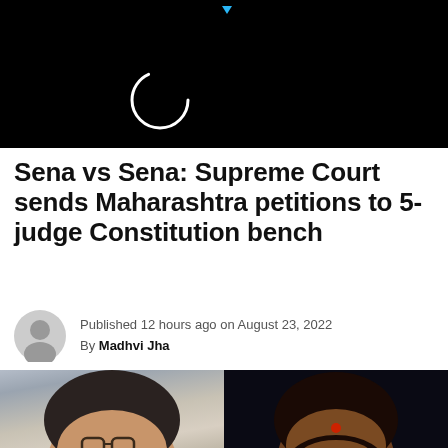[Figure (screenshot): Black header area with circular loading icon and small blue play arrow indicator]
Sena vs Sena: Supreme Court sends Maharashtra petitions to 5-judge Constitution bench
Published 12 hours ago on August 23, 2022
By Madhvi Jha
[Figure (photo): Split photo showing two political figures: left side shows a man with glasses and mustache against grey background, right side shows a bearded man with red bindi against dark background]